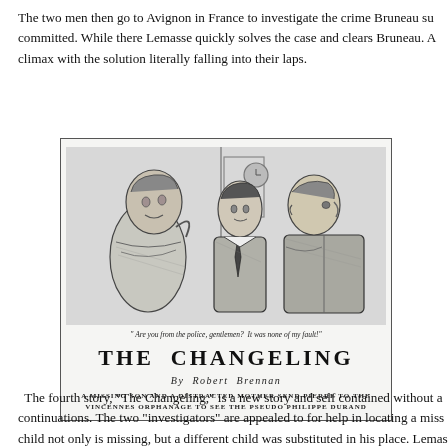The two men then go to Avignon in France to investigate the crime Bruneau su committed. While there Lemasse quickly solves the case and clears Bruneau. A climax with the solution literally falling into their laps.
[Figure (illustration): Black and white pen illustration showing three figures: an older woman on the left looking alarmed, and two men (one young, one older) facing her. Below the drawing is a caption: '"Are you from the police, gentlemen? It was none of my fault!"' Then the story title 'THE CHANGELING', byline 'By Robert Brennan', and subtitle 'A MISSING SON AND A DISTRACTED MOTHER SEND PIERRE TO THE VINCENNES ORPHANAGE TO SEE THE PSEUDO PHILIPPE DURAND']
" Are you from the police, gentlemen? It was none of my fault!"
THE CHANGELING
By Robert Brennan
A MISSING SON AND A DISTRACTED MOTHER SEND PIERRE TO THE VINCENNES ORPHANAGE TO SEE THE PSEUDO PHILIPPE DURAND
The fourth story, "The Changeling," is a new story and self contained without a continuations. The two "investigators" are appealed to for help in locating a miss child not only is missing, but a different child was substituted in his place. Lemas